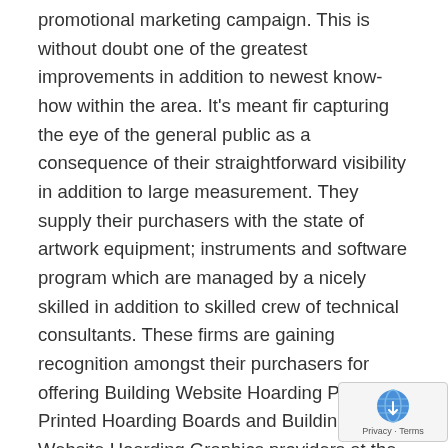promotional marketing campaign. This is without doubt one of the greatest improvements in addition to newest know-how within the area. It's meant fir capturing the eye of the general public as a consequence of their straightforward visibility in addition to large measurement. They supply their purchasers with the state of artwork equipment; instruments and software program which are managed by a nicely skilled in addition to skilled crew of technical consultants. These firms are gaining recognition amongst their purchasers for offering Building Website Hoarding Printing, Printed Hoarding Boards and Building Website Hoarding Graphics providers at the absolute best worth. They serve totally different distinctive functions for the completion of a constructing challenge. These hoardings work to keep up confidentiality, safety, security and privateness of the work website. They inform and educate the general public concerning the challeng… They assist to extend the gross sales in addition to